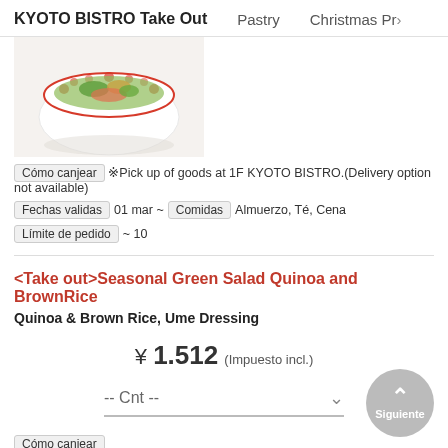KYOTO BISTRO Take Out   Pastry   Christmas Pr>
[Figure (photo): Photo of a Japanese food bowl with colorful red and white pattern, containing salad/vegetables, on a white background]
Cómo canjear  ※Pick up of goods at 1F KYOTO BISTRO.(Delivery option not available)
Fechas validas  01 mar ~   Comidas  Almuerzo, Té, Cena
Límite de pedido  ~ 10
<Take out>Seasonal Green Salad Quinoa and BrownRice
Quinoa & Brown Rice, Ume Dressing
¥ 1.512 (Impuesto incl.)
-- Cnt --
Cómo canjear  ※Pick up of goods at 1F KYOTO BISTRO.(Delivery option not available)